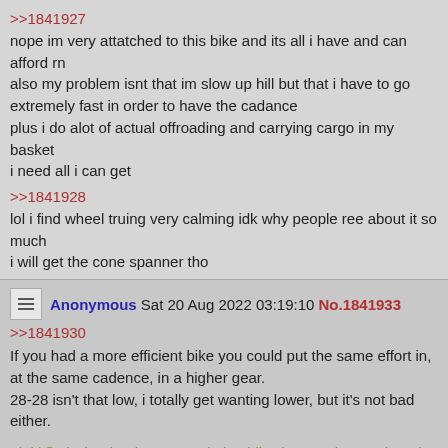>>1841927
nope im very attatched to this bike and its all i have and can afford rn
also my problem isnt that im slow up hill but that i have to go extremely fast in order to have the cadance
plus i do alot of actual offroading and carrying cargo in my basket
i need all i can get
>>1841928
lol i find wheel truing very calming idk why people ree about it so much
i will get the cone spanner tho
Anonymous Sat 20 Aug 2022 03:19:10 No.1841933
>>1841930
If you had a more efficient bike you could put the same effort in, at the same cadence, in a higher gear.
28-28 isn't that low, i totally get wanting lower, but it's not bad either.

>lol i find wheel truing very calming idk why people ree about it so much
dishing a wheel is more annoying because you'd think you could take a true wheel and adjust each spoke the same amount and have a true wheel that's moved over slightly but it always ends up out of true so it's like you're broking it to change it.
I also just assumed you couldn't into wheel truing seeing as you're clutching to a shitty department store bike lol but i guess not.